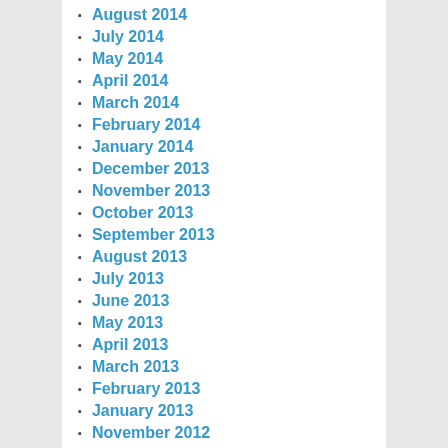August 2014
July 2014
May 2014
April 2014
March 2014
February 2014
January 2014
December 2013
November 2013
October 2013
September 2013
August 2013
July 2013
June 2013
May 2013
April 2013
March 2013
February 2013
January 2013
November 2012
October 2012